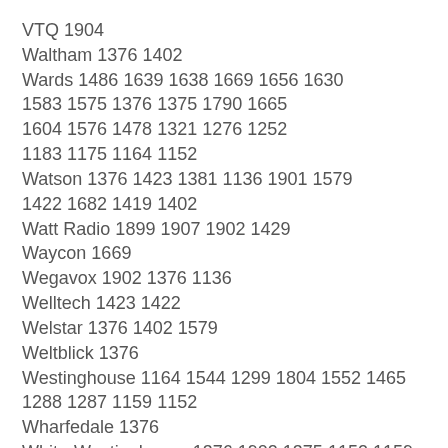VTQ 1904
Waltham 1376 1402
Wards 1486 1639 1638 1669 1656 1630 1583 1575 1376 1375 1790 1665 1604 1576 1478 1321 1276 1252 1183 1175 1164 1152
Watson 1376 1423 1381 1136 1901 1579 1422 1682 1419 1402
Watt Radio 1899 1907 1902 1429
Waycon 1669
Wegavox 1902 1376 1136
Welltech 1423 1422
Welstar 1376 1402 1579
Weltblick 1376
Westinghouse 1164 1544 1299 1804 1552 1465 1288 1287 1159 1152
Wharfedale 1376
White-Westinghouse 1376 1902 1375 1152 1159 1910 1663 1373 1313 1399 1164